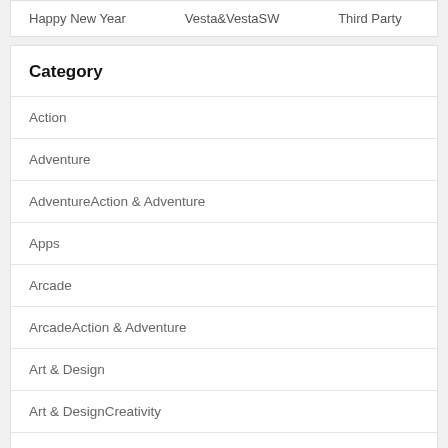| Happy New Year | Vesta&VestaSW | Third Party |
| Category |
| --- |
| Action |
| Adventure |
| AdventureAction & Adventure |
| Apps |
| Arcade |
| ArcadeAction & Adventure |
| Art & Design |
| Art & DesignCreativity |
| Auto & Vehicles |
| Auto & VehiclesAction & Adventure |